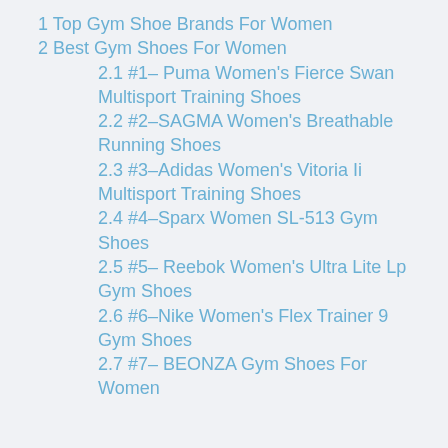1 Top Gym Shoe Brands For Women
2 Best Gym Shoes For Women
2.1 #1– Puma Women's Fierce Swan Multisport Training Shoes
2.2 #2–SAGMA Women's Breathable Running Shoes
2.3 #3–Adidas Women's Vitoria Ii Multisport Training Shoes
2.4 #4–Sparx Women SL-513 Gym Shoes
2.5 #5– Reebok Women's Ultra Lite Lp Gym Shoes
2.6 #6–Nike Women's Flex Trainer 9 Gym Shoes
2.7 #7– BEONZA Gym Shoes For Women